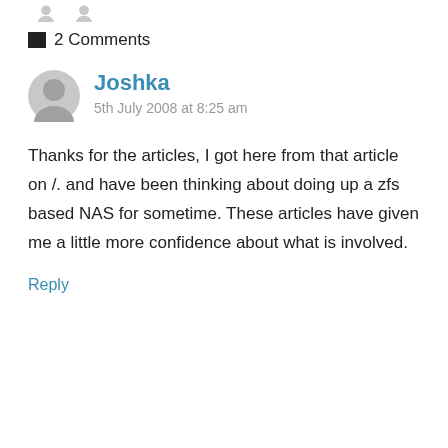2 Comments
Joshka
5th July 2008 at 8:25 am
Thanks for the articles, I got here from that article on /. and have been thinking about doing up a zfs based NAS for sometime. These articles have given me a little more confidence about what is involved.
Reply